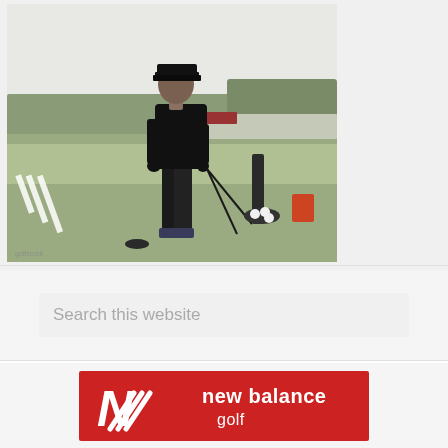[Figure (photo): A golfer dressed in all black including a black cap, jacket, and pants, standing on a golf course driving range. He is looking down, possibly checking his phone or a device. A golf club bag stand is visible to his right. The New Balance logo (white diagonal stripes) is overlaid on the lower-left of the image. A small watermark reads 'golfscout' at the bottom left.]
Search this website
[Figure (logo): New Balance Golf logo — red rectangular banner with the New Balance 'NB' swoosh logo in white on the left, and the text 'new balance' on top and 'golf' below in white on the right.]